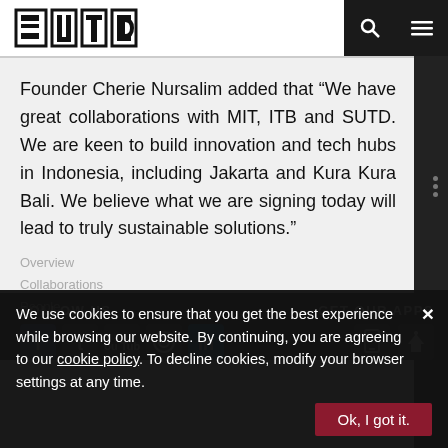[Figure (logo): SUTD logo in black and white geometric style]
Founder Cherie Nursalim added that “We have great collaborations with MIT, ITB and SUTD. We are keen to build innovation and tech hubs in Indonesia, including Jakarta and Kura Kura Bali. We believe what we are signing today will lead to truly sustainable solutions.”
FOLLOW US   GET OUR APPS
We use cookies to ensure that you get the best experience while browsing our website. By continuing, you are agreeing to our cookie policy. To decline cookies, modify your browser settings at any time.
Overview
Collaborations
People